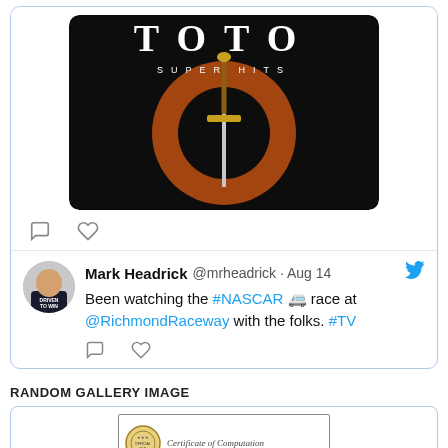[Figure (screenshot): Tweet card showing TOTO Super Hits album artwork — black background with large orange/rust ring and a sword through it, text 'TOTO' at top and 'SUPER HITS' below]
[Figure (screenshot): Tweet by Mark Headrick @mrheadrick Aug 14: Been watching the #NASCAR 🏎 race at @RichmondRaceway with the folks. #TV]
RANDOM GALLERY IMAGE
[Figure (photo): Certificate of Computation with a seal/logo on the left side, partial view]